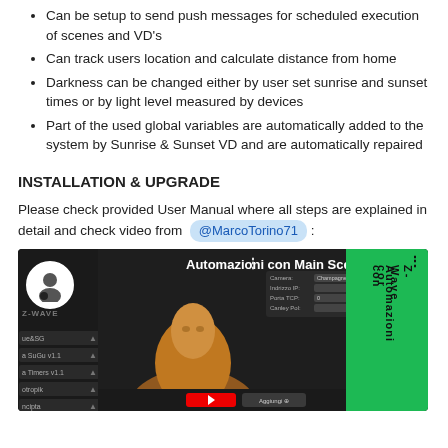Can be setup to send push messages for scheduled execution of scenes and VD's
Can track users location and calculate distance from home
Darkness can be changed either by user set sunrise and sunset times or by light level measured by devices
Part of the used global variables are automatically added to the system by Sunrise & Sunset VD and are automatically repaired
INSTALLATION & UPGRADE
Please check provided User Manual where all steps are explained in detail and check video from @MarcoTorino71 :
[Figure (screenshot): YouTube video thumbnail showing 'Automazioni con Main Scene FTB...' with a person and Z-wave interface on dark background with green right panel]